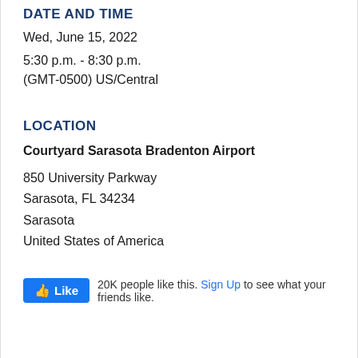DATE AND TIME
Wed, June 15, 2022
5:30 p.m. - 8:30 p.m.
(GMT-0500) US/Central
LOCATION
Courtyard Sarasota Bradenton Airport
850 University Parkway
Sarasota, FL 34234
Sarasota
United States of America
20K people like this. Sign Up to see what your friends like.